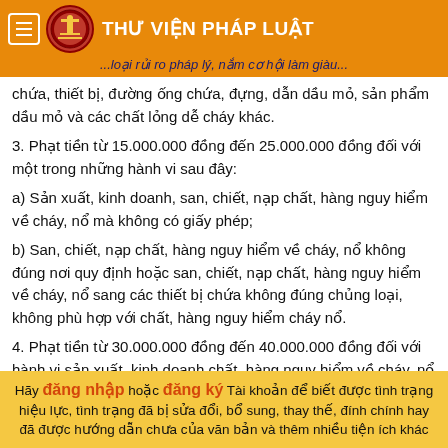THƯ VIỆN PHÁP LUẬT
...loại rủi ro pháp lý, nắm cơ hội làm giàu...
chứa, thiết bị, đường ống chứa, đựng, dẫn dầu mỏ, sản phẩm dầu mỏ và các chất lỏng dễ cháy khác.
3. Phạt tiền từ 15.000.000 đồng đến 25.000.000 đồng đối với một trong những hành vi sau đây:
a) Sản xuất, kinh doanh, san, chiết, nạp chất, hàng nguy hiểm về cháy, nổ mà không có giấy phép;
b) San, chiết, nạp chất, hàng nguy hiểm về cháy, nổ không đúng nơi quy định hoặc san, chiết, nạp chất, hàng nguy hiểm về cháy, nổ sang các thiết bị chứa không đúng chủng loại, không phù hợp với chất, hàng nguy hiểm cháy nổ.
4. Phạt tiền từ 30.000.000 đồng đến 40.000.000 đồng đối với hành vi sản xuất, kinh doanh chất, hàng nguy hiểm về cháy, nổ thuộc danh mục cấm kinh doanh.
Hãy đăng nhập hoặc đăng ký Tài khoản để biết được tình trạng hiệu lực, tình trạng đã bị sửa đổi, bổ sung, thay thế, đính chính hay đã được hướng dẫn chưa của văn bản và thêm nhiều tiện ích khác